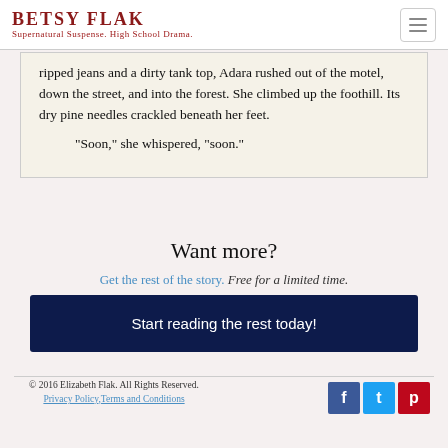Betsy Flak — Supernatural Suspense. High School Drama.
ripped jeans and a dirty tank top, Adara rushed out of the motel, down the street, and into the forest. She climbed up the foothill. Its dry pine needles crackled beneath her feet.
“Soon,” she whispered, “soon.”
Want more?
Get the rest of the story. Free for a limited time.
Start reading the rest today!
© 2016 Elizabeth Flak. All Rights Reserved. Privacy Policy, Terms and Conditions